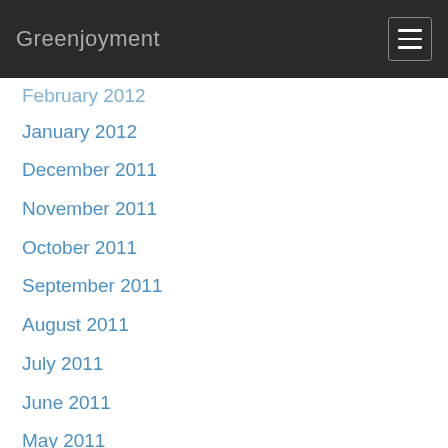Greenjoyment
February 2012
January 2012
December 2011
November 2011
October 2011
September 2011
August 2011
July 2011
June 2011
May 2011
April 2011
March 2011
February 2011
January 2011
December 2010
November 2010